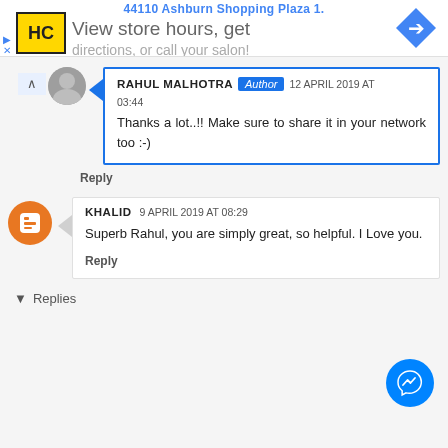44110 Ashburn Shopping Plaza 1.
[Figure (logo): HC logo in yellow square, View store hours get directions or call your salon text with navigation arrow icon]
RAHUL MALHOTRA Author 12 APRIL 2019 AT 03:44
Thanks a lot..!! Make sure to share it in your network too :-)
Reply
KHALID 9 APRIL 2019 AT 08:29
Superb Rahul, you are simply great, so helpful. I Love you.
Reply
Replies